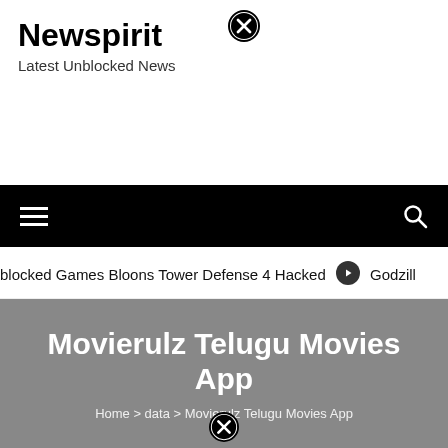Newspirit
Latest Unblocked News
[Figure (other): Close/cancel button circle icon in top center area]
[Figure (other): Navigation bar with hamburger menu icon on left and search icon on right, black background]
blocked Games Bloons Tower Defense 4 Hacked  ➡  Godzill
Movierulz Telugu Movies App
Home > data > Movierulz Telugu Movies App
[Figure (other): Close/cancel button circle icon at bottom of hero section]